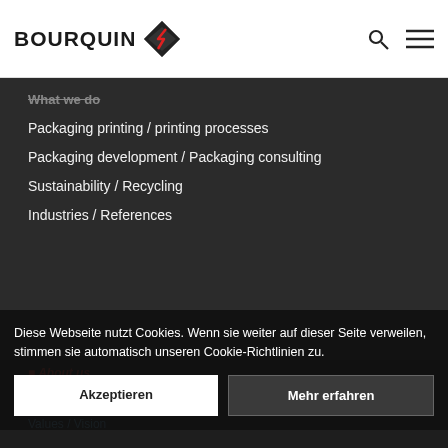BOURQUIN [logo]
What we do
Packaging printing / printing processes
Packaging development / Packaging consulting
Sustainability / Recycling
Industries / References
Diese Webseite nutzt Cookies. Wenn sie weiter auf dieser Seite verweilen, stimmen sie automatisch unseren Cookie-Richtlinien zu.
History / Company
Organisation
Values / Vision